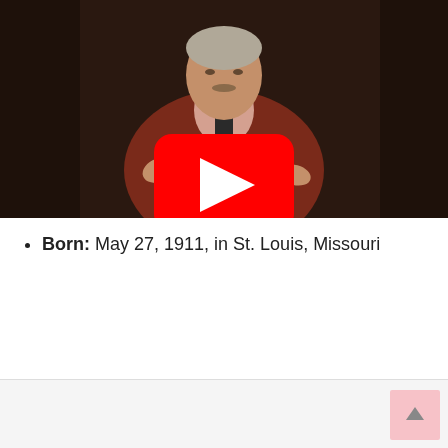[Figure (screenshot): Embedded YouTube video thumbnail showing an older man in a reddish-brown jacket with a dark tie, gesturing with his hands. A red YouTube play button overlay is centered on the image.]
Born: May 27, 1911, in St. Louis, Missouri